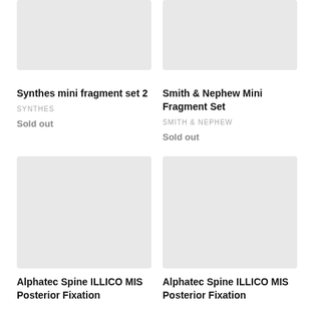[Figure (photo): Gray placeholder image for Synthes mini fragment set 2]
Synthes mini fragment set 2
SYNTHES
Sold out
[Figure (photo): Gray placeholder image for Smith & Nephew Mini Fragment Set]
Smith & Nephew Mini Fragment Set
SMITH & NEPHEW
Sold out
[Figure (photo): Gray placeholder image for Alphatec Spine ILLICO MIS Posterior Fixation]
Alphatec Spine ILLICO MIS Posterior Fixation
[Figure (photo): Gray placeholder image for Alphatec Spine ILLICO MIS Posterior Fixation]
Alphatec Spine ILLICO MIS Posterior Fixation